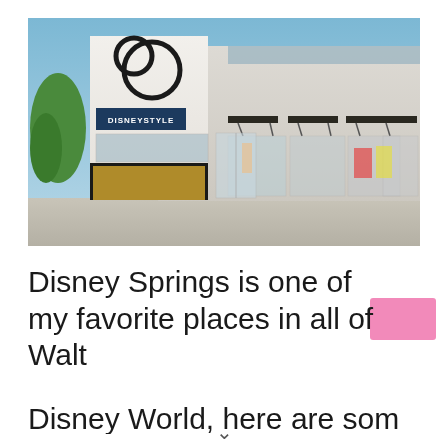[Figure (photo): Exterior photo of DisneyStyle store at Disney Springs. White building with large circular Mickey Mouse ear logo on tower. Sign reads 'DISNEYSTYLE' in white on dark blue background. Adjacent retail storefronts with glass windows and dark awnings. Blue sky background, trees on left.]
Disney Springs is one of my favorite places in all of Walt Disney World, here are some great...